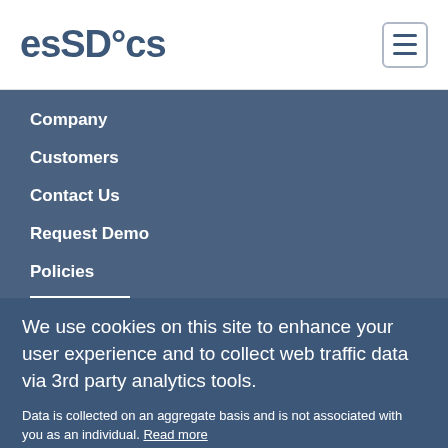essDocs
Company
Customers
Contact Us
Request Demo
Policies
We use cookies on this site to enhance your user experience and to collect web traffic data via 3rd party analytics tools.
Data is collected on an aggregate basis and is not associated with you as an individual. Read more
Allow cookies   No thanks